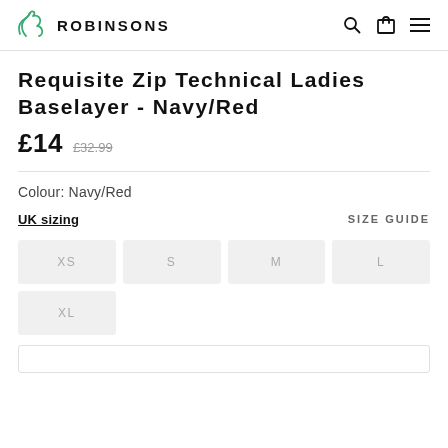ROBINSONS
Requisite Zip Technical Ladies Baselayer - Navy/Red
£14  £32.99
Colour: Navy/Red
UK sizing
SIZE GUIDE
XS
S
M
L
XL